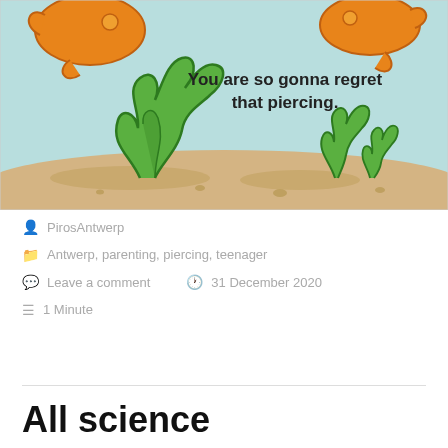[Figure (illustration): A cartoon comic panel showing characters (appearing to be fish or sea creatures) underwater with seaweed/plants on a sandy bottom. Text in the panel reads: 'You are so gonna regret that piercing.' The scene has a light teal/turquoise background with orange characters at the top and green seaweed plants at the bottom on sandy ground.]
PirosAntwerp
Antwerp, parenting, piercing, teenager
Leave a comment   31 December 2020
1 Minute
All science